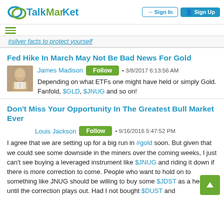TalkMarkets | Sign In | Sign Up
#silver facts to protect yourself
Fed Hike In March May Not Be Bad News For Gold
James Madison • 3/8/2017 6:13:56 AM
Depending on what ETFs one might have held or simply Gold. Fanfold, $GLD, $JNUG and so on!
Don't Miss Your Opportunity In The Greatest Bull Market Ever
Louis Jackson • 9/16/2016 5:47:52 PM
I agree that we are setting up for a big run in #gold soon. But given that we could see some downside in the miners over the coming weeks, I just can't see buying a leveraged instrument like $JNUG and riding it down if there is more correction to come. People who want to hold on to something like JNUG should be willing to buy some $JDST as a hedge until the correction plays out. Had I not bought $DUST and